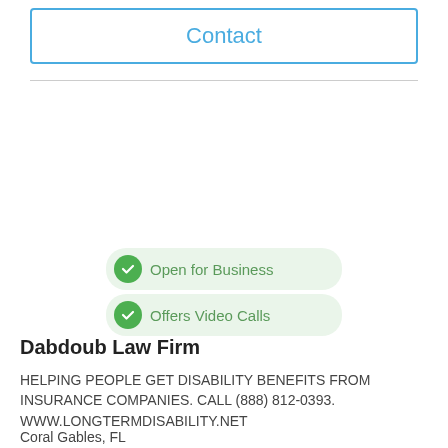Contact
Open for Business
Offers Video Calls
Dabdoub Law Firm
HELPING PEOPLE GET DISABILITY BENEFITS FROM INSURANCE COMPANIES. CALL (888) 812-0393. WWW.LONGTERMDISABILITY.NET
Coral Gables, FL